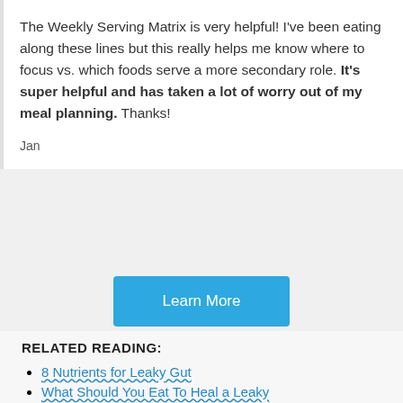The Weekly Serving Matrix is very helpful! I've been eating along these lines but this really helps me know where to focus vs. which foods serve a more secondary role. It's super helpful and has taken a lot of worry out of my meal planning. Thanks!
Jan
[Figure (other): Blue 'Learn More' button]
RELATED READING:
8 Nutrients for Leaky Gut
What Should You Eat To Heal a Leaky